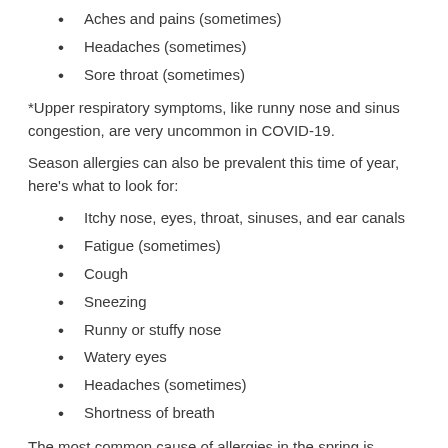Aches and pains (sometimes)
Headaches (sometimes)
Sore throat (sometimes)
*Upper respiratory symptoms, like runny nose and sinus congestion, are very uncommon in COVID-19.
Season allergies can also be prevalent this time of year, here’s what to look for:
Itchy nose, eyes, throat, sinuses, and ear canals
Fatigue (sometimes)
Cough
Sneezing
Runny or stuffy nose
Watery eyes
Headaches (sometimes)
Shortness of breath
The most common cause of allergies in the spring is pollen. Pollen floats through the air from a variety of